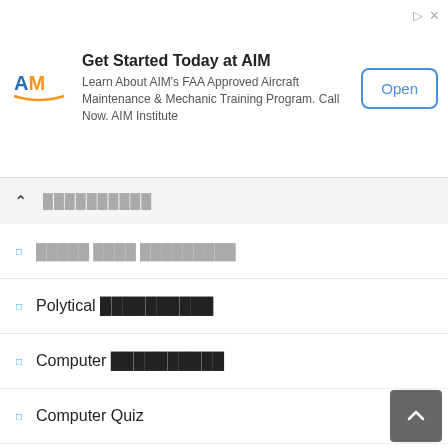[Figure (screenshot): Advertisement banner for AIM Institute with logo, text about FAA Approved Aircraft Maintenance training, and Open button]
⌃  [Malayalam script text]
◻ [Malayalam script text]
◻ Polytical [Malayalam script text]
◻ Computer [Malayalam script text]
◻ Computer Quiz
◻ General Awareness
◻ [Malayalam script text]
◻ Tamil GK
◻ Telugu GK
◻ Malayalam Gk
◻ Kannada Gk